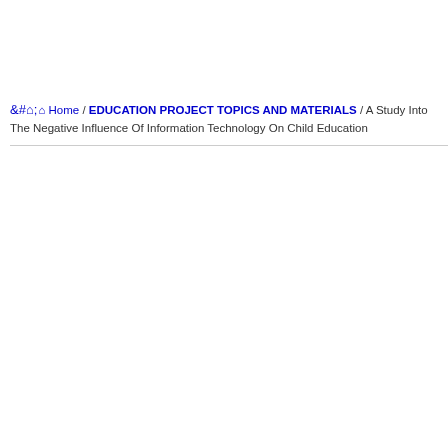Home / EDUCATION PROJECT TOPICS AND MATERIALS / A Study Into The Negative Influence Of Information Technology On Child Education